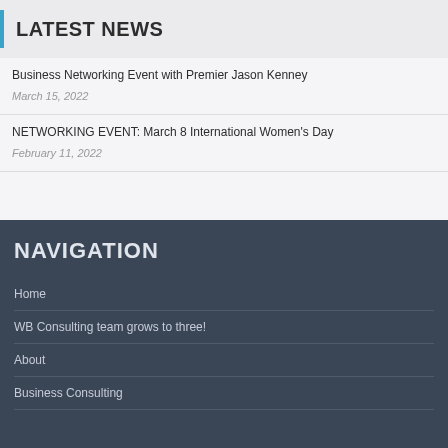LATEST NEWS
Business Networking Event with Premier Jason Kenney
March 15, 2022
NETWORKING EVENT: March 8 International Women's Day
February 11, 2022
NAVIGATION
Home
WB Consulting team grows to three!
About
Business Consulting